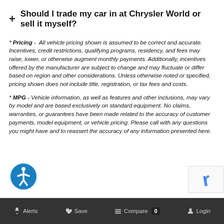+ Should I trade my car in at Chrysler World or sell it myself?
* Pricing -  All vehicle pricing shown is assumed to be correct and accurate. Incentives, credit restrictions, qualifying programs, residency, and fees may raise, lower, or otherwise augment monthly payments. Additionally, incentives offered by the manufacturer are subject to change and may fluctuate or differ based on region and other considerations. Unless otherwise noted or specified, pricing shown does not include title, registration, or tax fees and costs.
* MPG - Vehicle information, as well as features and other inclusions, may vary by model and are based exclusively on standard equipment. No claims, warranties, or guarantees have been made related to the accuracy of customer payments, model equipment, or vehicle pricing. Please call with any questions you might have and to reassert the accuracy of any information presented here.
[Figure (logo): Blue circular accessibility icon with white person in circle]
Alerts   Save   Compare 0   Login